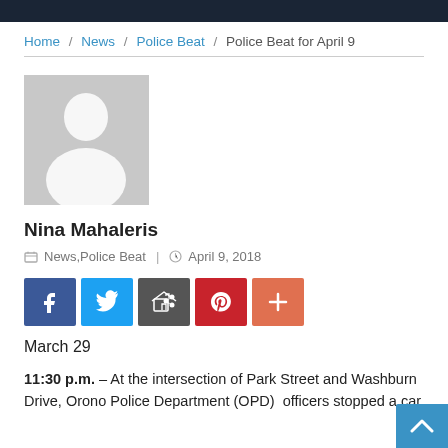Home / News / Police Beat / Police Beat for April 9
[Figure (photo): Generic avatar placeholder silhouette on grey background]
Nina Mahaleris
News, Police Beat  |  April 9, 2018
[Figure (infographic): Social sharing icons: Facebook, Twitter, RSS/Share, Pinterest, Plus]
March 29
11:30 p.m. – At the intersection of Park Street and Washburn Drive, Orono Police Department (OPD)  officers stopped a car